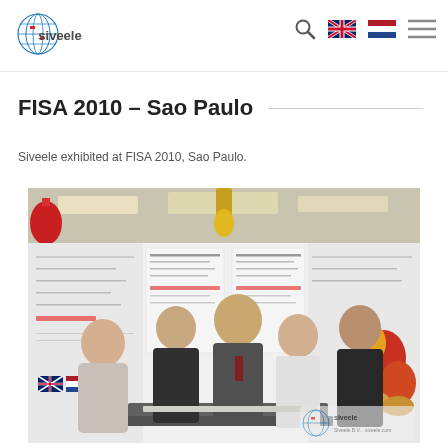siveele [logo with navigation icons: search, UK flag, NL flag, menu]
FISA 2010 – Sao Paulo
Siveele exhibited at FISA 2010, Sao Paulo.
[Figure (photo): Five men posing inside a trade show booth with product display panels on the walls. The booth shows Siveele branding materials. A watermark with the Siveele logo appears in the bottom-right corner of the photo.]